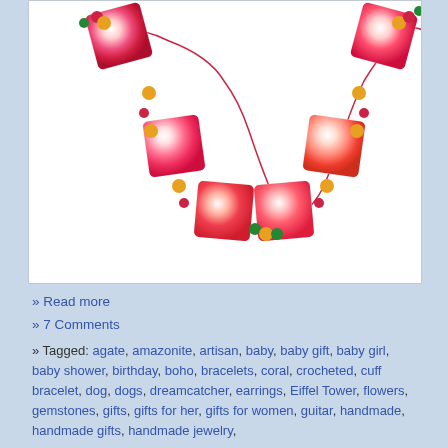[Figure (photo): A colorful beaded necklace with large pink, red, orange and white swirled square lampwork glass beads, connected by smaller amber/yellow, red, and green crystal beads, displayed on a white background.]
» Read more
» 7 Comments
» Tagged: agate, amazonite, artisan, baby, baby gift, baby girl, baby shower, birthday, boho, bracelets, coral, crocheted, cuff bracelet, dog, dogs, dreamcatcher, earrings, Eiffel Tower, flowers, gemstones, gifts, gifts for her, gifts for women, guitar, handmade, handmade gifts, handmade jewelry,